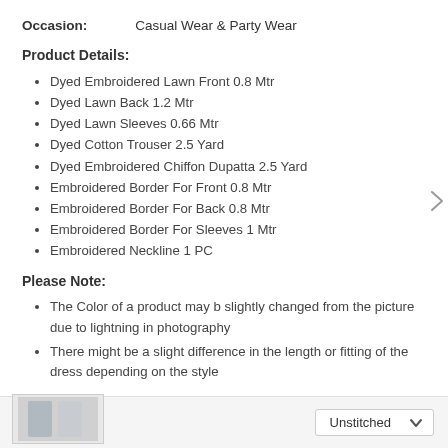Occasion: Casual Wear & Party Wear
Product Details:
Dyed Embroidered Lawn Front 0.8 Mtr
Dyed Lawn Back 1.2 Mtr
Dyed Lawn Sleeves 0.66 Mtr
Dyed Cotton Trouser 2.5 Yard
Dyed Embroidered Chiffon Dupatta 2.5 Yard
Embroidered Border For Front 0.8 Mtr
Embroidered Border For Back 0.8 Mtr
Embroidered Border For Sleeves 1 Mtr
Embroidered Neckline 1 PC
Please Note:
The Color of a product may b slightly changed from the picture due to lightning in photography
There might be a slight difference in the length or fitting of the dress depending on the style